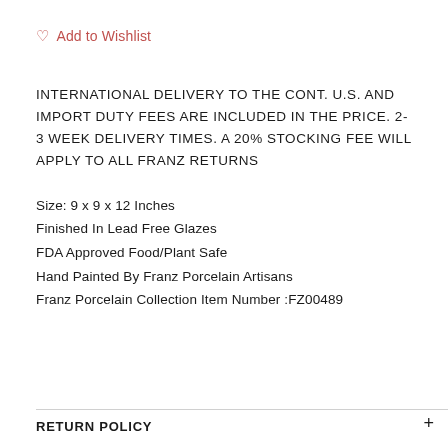♡ Add to Wishlist
INTERNATIONAL DELIVERY TO THE CONT. U.S. AND IMPORT DUTY FEES ARE INCLUDED IN THE PRICE. 2-3 WEEK DELIVERY TIMES. A 20% STOCKING FEE WILL APPLY TO ALL FRANZ RETURNS
Size: 9 x 9 x 12 Inches
Finished In Lead Free Glazes
FDA Approved Food/Plant Safe
Hand Painted By Franz Porcelain Artisans
Franz Porcelain Collection Item Number :FZ00489
RETURN POLICY